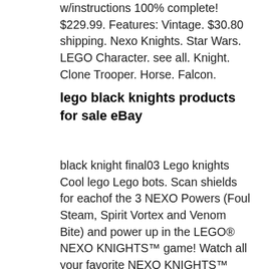w/instructions 100% complete! $229.99. Features: Vintage. $30.80 shipping. Nexo Knights. Star Wars. LEGO Character. see all. Knight. Clone Trooper. Horse. Falcon.
lego black knights products for sale eBay
black knight final03 Lego knights Cool lego Lego bots. Scan shields for eachof the 3 NEXO Powers (Foul Steam, Spirit Vortex and Venom Bite) and power up in the LEGO® NEXO KNIGHTS™ game! Watch all your favorite NEXO KNIGHTS™ episodes on Cartoon Network. The Black Knight Mech measures stands over 12" (31cm) tall., A small castle for the Nexo